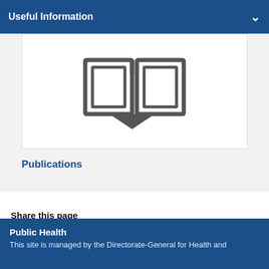Useful Information
[Figure (illustration): Open book icon with grey outline on white card background]
Publications
Share this page
[Figure (other): Loading spinner / circular dots indicator]
Public Health
This site is managed by the Directorate-General for Health and